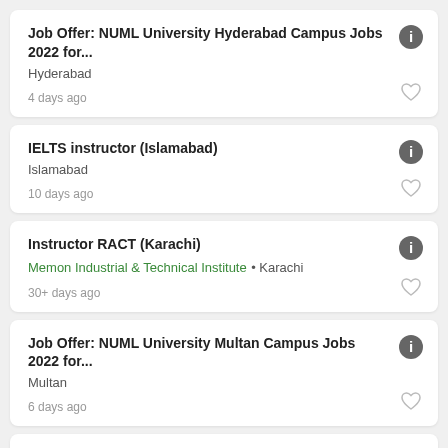Job Offer: NUML University Hyderabad Campus Jobs 2022 for...
Hyderabad
4 days ago
IELTS instructor (Islamabad)
Islamabad
10 days ago
Instructor RACT (Karachi)
Memon Industrial & Technical Institute • Karachi
30+ days ago
Job Offer: NUML University Multan Campus Jobs 2022 for...
Multan
6 days ago